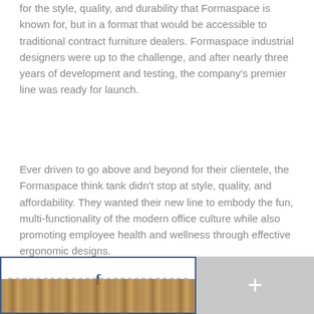for the style, quality, and durability that Formaspace is known for, but in a format that would be accessible to traditional contract furniture dealers. Formaspace industrial designers were up to the challenge, and after nearly three years of development and testing, the company's premier line was ready for launch.
Ever driven to go above and beyond for their clientele, the Formaspace think tank didn't stop at style, quality, and affordability. They wanted their new line to embody the fun, multi-functionality of the modern office culture while also promoting employee health and wellness through effective ergonomic designs.
[Figure (other): Bottom bar with two sections: left section showing a Facebook icon above a wood-texture image with dashed line, bordered in dark blue; right section showing a plus sign on gray background.]